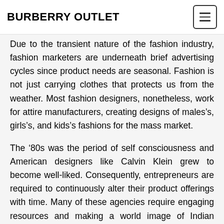BURBERRY OUTLET
Due to the transient nature of the fashion industry, fashion marketers are underneath brief advertising cycles since product needs are seasonal. Fashion is not just carrying clothes that protects us from the weather. Most fashion designers, nonetheless, work for attire manufacturers, creating designs of males’s, girls’s, and kids’s fashions for the mass market.
The ‘80s was the period of self consciousness and American designers like Calvin Klein grew to become well-liked. Consequently, entrepreneurs are required to continuously alter their product offerings with time. Many of these agencies require engaging resources and making a world image of Indian fashion quite than independently making an attempt to